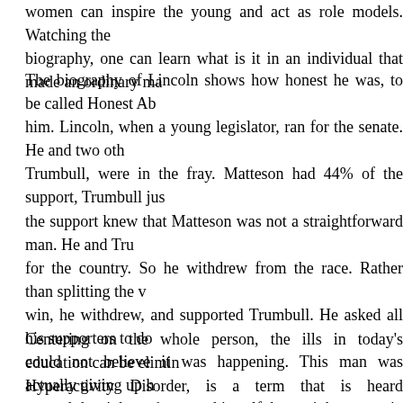women can inspire the young and act as role models. Watching the biography, one can learn what is it in an individual that made an ordinary ma
The biography of Lincoln shows how honest he was, to be called Honest Ab him. Lincoln, when a young legislator, ran for the senate. He and two oth Trumbull, were in the fray. Matteson had 44% of the support, Trumbull jus the support knew that Matteson was not a straightforward man. He and Tru for the country. So he withdrew from the race. Rather than splitting the v win, he withdrew, and supported Trumbull. He asked all his supporters to do could not believe it was happening. This man was actually giving up h wanted the right person, not himself, but a right person in the senate ins character. So he sacrificed his chances for the greater good. Trumbull wo contested the elections at the national level, Trumbull was one of his loyal the post of the US President. It is not so much a moral lesson as an ins Honesty and political aspiration do not often appear to be the closest of al alliance, they take one all the way to the top. Values have been recog professional excellence. Biographies bring the principle to life.
Centering on the whole person, the ills in today's education can be elimin Hyperactivity Disorder, is a term that is heard increasingly with referenc some 9% of all children are diagnosed with ADHD, and treated with diffe